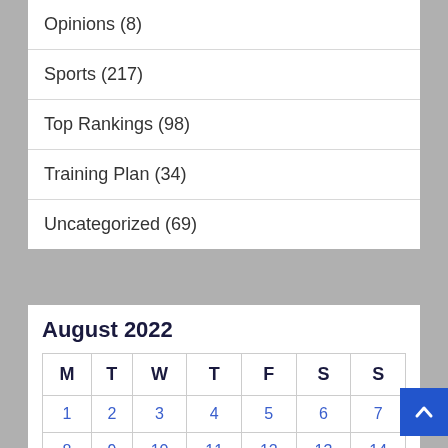Opinions (8)
Sports (217)
Top Rankings (98)
Training Plan (34)
Uncategorized (69)
August 2022
| M | T | W | T | F | S | S |
| --- | --- | --- | --- | --- | --- | --- |
| 1 | 2 | 3 | 4 | 5 | 6 | 7 |
| 8 | 9 | 10 | 11 | 12 | 13 | 14 |